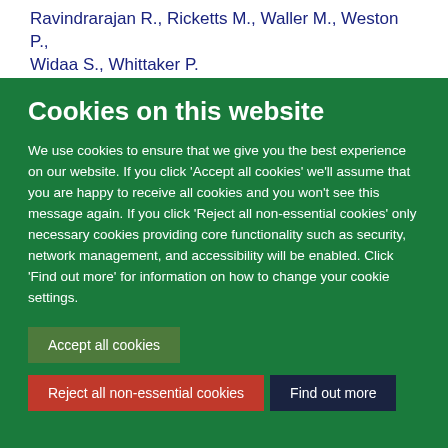Ravindrarajan R., Ricketts M., Waller M., Weston P., Widaa S., Whittaker P.
Cookies on this website
We use cookies to ensure that we give you the best experience on our website. If you click 'Accept all cookies' we'll assume that you are happy to receive all cookies and you won't see this message again. If you click 'Reject all non-essential cookies' only necessary cookies providing core functionality such as security, network management, and accessibility will be enabled. Click 'Find out more' for information on how to change your cookie settings.
Accept all cookies
Reject all non-essential cookies
Find out more